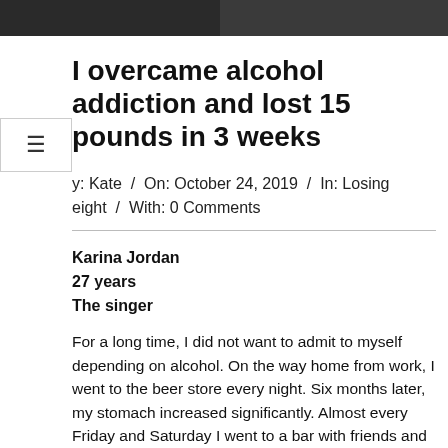[Figure (photo): Two cropped photo panels at top of page, partially visible]
I overcame alcohol addiction and lost 15 pounds in 3 weeks
By: Kate / On: October 24, 2019 / In: Losing Weight / With: 0 Comments
Karina Jordan
27 years
The singer

For a long time, I did not want to admit to myself depending on alcohol. On the way home from work, I went to the beer store every night. Six months later, my stomach increased significantly. Almost every Friday and Saturday I went to a bar with friends and could have a few cocktails. I started having health problems, and I did not need to go to the doctor to understand what